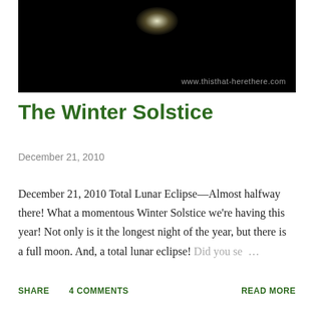[Figure (photo): Dark night sky photo with a faint moon glow at the top center, watermarked with www.thisthat-herethere.com]
The Winter Solstice
December 21, 2010
December 21, 2010 Total Lunar Eclipse—Almost halfway there! What a momentous Winter Solstice we're having this year! Not only is it the longest night of the year, but there is a full moon. And, a total lunar eclipse! Did you se …
SHARE   4 COMMENTS   READ MORE